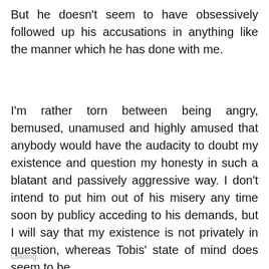But he doesn't seem to have obsessively followed up his accusations in anything like the manner which he has done with me.
I'm rather torn between being angry, bemused, unamused and highly amused that anybody would have the audacity to doubt my existence and question my honesty in such a blatant and passively aggressive way. I don't intend to put him out of his misery any time soon by publicy acceding to his demands, but I will say that my existence is not privately in question, whereas Tobis' state of mind does seem to be.
Loading...